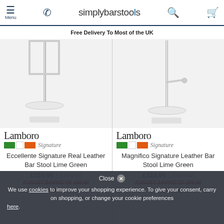simplybarstools — Menu, Phone, Search, Cart
Free Delivery To Most of the UK
[Figure (photo): Bar stool product image - Eccellente Signature Real Leather Bar Stool Lime Green with chrome frame, Lamboro Signature brand badge]
Eccellente Signature Real Leather Bar Stool Lime Green
£224.99 | £324.88
AUGUST SAVING OF £99.89
[Figure (photo): Bar stool product image - Magnifico Signature Leather Bar Stool Lime Green with chrome frame, Lamboro Signature brand badge]
Magnifico Signature Leather Bar Stool Lime Green
£224.99 | £324.88
AUGUST SAVING OF £99.89
We use cookies to improve your shopping experience. To give your consent, carry on shopping, or change your cookie preferences here.